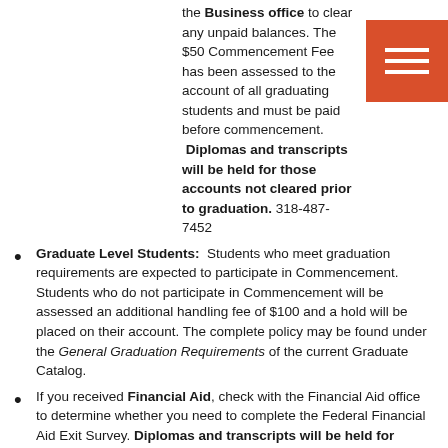the Business office to clear any unpaid balances. The $50 Commencement Fee has been assessed to the account of all graduating students and must be paid before commencement. Diplomas and transcripts will be held for those accounts not cleared prior to graduation. 318-487-7452
Graduate Level Students: Students who meet graduation requirements are expected to participate in Commencement. Students who do not participate in Commencement will be assessed an additional handling fee of $100 and a hold will be placed on their account. The complete policy may be found under the General Graduation Requirements of the current Graduate Catalog.
If you received Financial Aid, check with the Financial Aid office to determine whether you need to complete the Federal Financial Aid Exit Survey. Diplomas and transcripts will be held for those accounts not cleared prior to graduation. 318-487-7386
Check with the library to make sure you have no outstanding balance or books. Diplomas and transcripts will be held for those accounts not